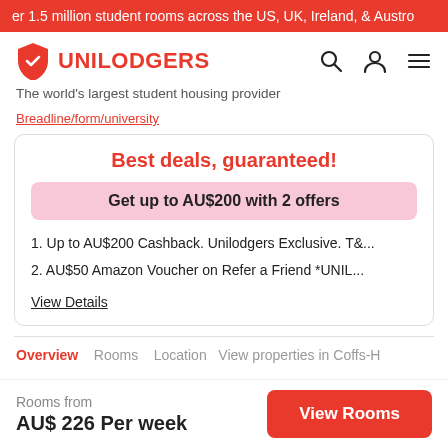er 1.5 million student rooms across the US, UK, Ireland, & Austro
[Figure (logo): Unilodgers logo with shield icon and text UNILODGERS]
The world's largest student housing provider
[breadcrumb link - partially visible]
Best deals, guaranteed!
Get up to AU$200 with 2 offers
1. Up to AU$200 Cashback. Unilodgers Exclusive. T&...
2. AU$50 Amazon Voucher on Refer a Friend *UNIL...
View Details
Overview   Rooms   Location  View properties in Coffs-H
Rooms from
AU$ 226 Per week
View Rooms